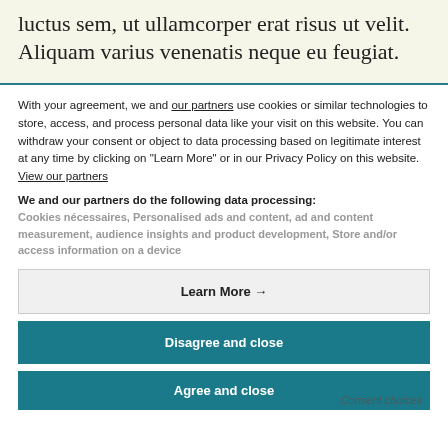luctus sem, ut ullamcorper erat risus ut velit. Aliquam varius venenatis neque eu feugiat.
With your agreement, we and our partners use cookies or similar technologies to store, access, and process personal data like your visit on this website. You can withdraw your consent or object to data processing based on legitimate interest at any time by clicking on "Learn More" or in our Privacy Policy on this website. View our partners
We and our partners do the following data processing: Cookies nécessaires, Personalised ads and content, ad and content measurement, audience insights and product development, Store and/or access information on a device
Learn More →
Disagree and close
Agree and close
Consent choices